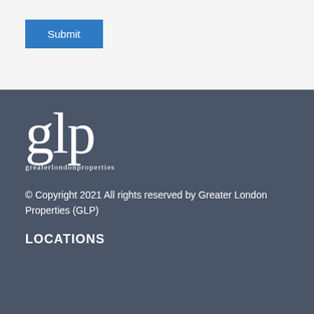[Figure (logo): Submit button, blue rectangular button with white text]
[Figure (logo): GLP Greater London Properties logo in white on dark blue-grey background, with large 'glp' letters and 'greaterlondonproperties' text below]
© Copyright 2021 All rights reserved by Greater London Properties (GLP)
LOCATIONS